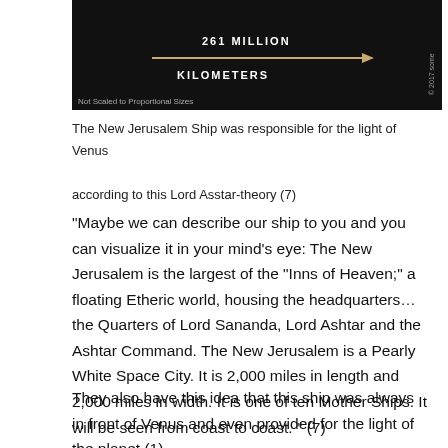[Figure (photo): Black background image showing text '261 MILLION KILOMETERS' with an arrow, and label 'Not Scaled to Proportional Sizes' in the lower left corner. Copyright watermark on the right side.]
The New Jerusalem Ship was responsible for the light of Venus according to this Lord Asstar-theory (7)
“Maybe we can describe our ship to you and you can visualize it in your mind’s eye: The New Jerusalem is the largest of the “Inns of Heaven;” a floating Etheric world, housing the headquarters… the Quarters of Lord Sananda, Lord Ashtar and the Ashtar Command.  The New Jerusalem is a Pearly White Space City. It is 2,000 miles in length and 2,000 miles in width. It is one of ten Mother Ships. It will be seen from coast to coast. ” (7)
They also have this idea that this ship was always in front of Venus and even provided for the light of the planet (1)